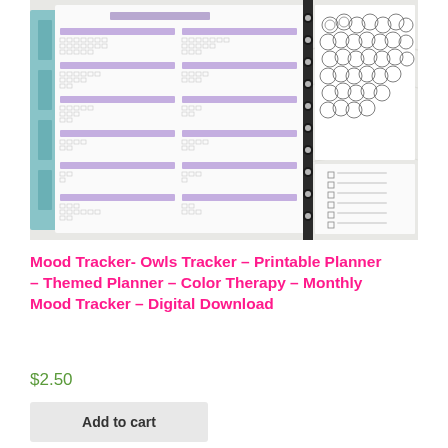[Figure (photo): Photo of an open disc-bound planner showing a yearly mood tracker grid with purple/lavender headers and small dot boxes for each day, alongside another planner page with an owl illustration, placed on a marble surface with a pencil nearby.]
Mood Tracker- Owls Tracker – Printable Planner – Themed Planner – Color Therapy – Monthly Mood Tracker – Digital Download
$2.50
Add to cart